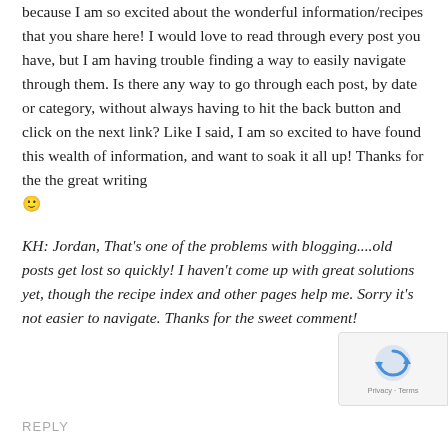because I am so excited about the wonderful information/recipes that you share here! I would love to read through every post you have, but I am having trouble finding a way to easily navigate through them. Is there any way to go through each post, by date or category, without always having to hit the back button and click on the next link? Like I said, I am so excited to have found this wealth of information, and want to soak it all up! Thanks for the the great writing 🙂
KH: Jordan, That's one of the problems with blogging....old posts get lost so quickly! I haven't come up with great solutions yet, though the recipe index and other pages help me. Sorry it's not easier to navigate. Thanks for the sweet comment!
REPLY